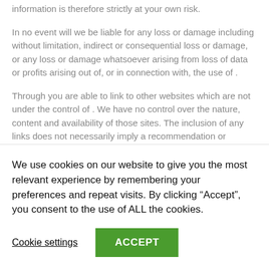information is therefore strictly at your own risk.
In no event will we be liable for any loss or damage including without limitation, indirect or consequential loss or damage, or any loss or damage whatsoever arising from loss of data or profits arising out of, or in connection with, the use of .
Through you are able to link to other websites which are not under the control of . We have no control over the nature, content and availability of those sites. The inclusion of any links does not necessarily imply a recommendation or endorse the views expressed
We use cookies on our website to give you the most relevant experience by remembering your preferences and repeat visits. By clicking “Accept”, you consent to the use of ALL the cookies.
Cookie settings
ACCEPT